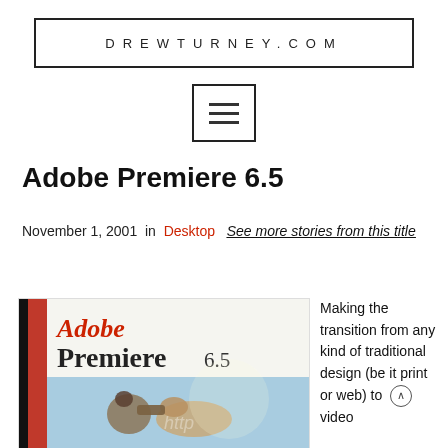DREWTURNEY.COM
[Figure (other): Hamburger menu icon inside a bordered rectangle]
Adobe Premiere 6.5
November 1, 2001  in  Desktop   See more stories from this title
[Figure (photo): Adobe Premiere 6.5 software box cover showing a horse and camera operator on a blue background with 'http' watermark text]
Making the transition from any kind of traditional design (be it print or web) to video